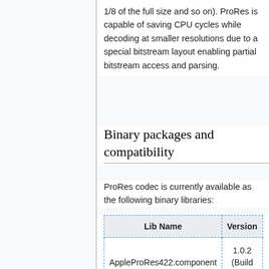1/8 of the full size and so on). ProRes is capable of saving CPU cycles while decoding at smaller resolutions due to a special bitstream layout enabling partial bitstream access and parsing.
Binary packages and compatibility
ProRes codec is currently available as the following binary libraries:
| Lib Name | Version |
| --- | --- |
| AppleProRes422.component | 1.0.2
(Build 46) |